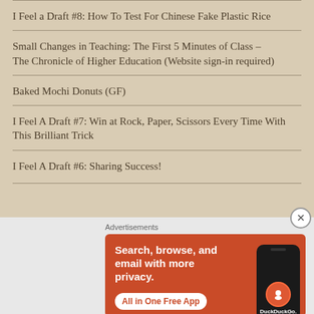I Feel a Draft #8: How To Test For Chinese Fake Plastic Rice
Small Changes in Teaching: The First 5 Minutes of Class – The Chronicle of Higher Education (Website sign-in required)
Baked Mochi Donuts (GF)
I Feel A Draft #7: Win at Rock, Paper, Scissors Every Time With This Brilliant Trick
I Feel A Draft #6: Sharing Success!
Advertisements
[Figure (infographic): DuckDuckGo advertisement banner with orange background showing 'Search, browse, and email with more privacy. All in One Free App' with a phone showing the DuckDuckGo logo]